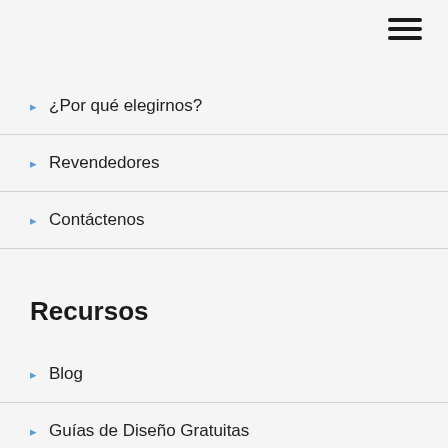[Figure (other): Hamburger menu icon with three horizontal lines in the top-right corner]
¿Por qué elegirnos?
Revendedores
Contáctenos
Recursos
Blog
Guías de Diseño Gratuitas
Ayuda